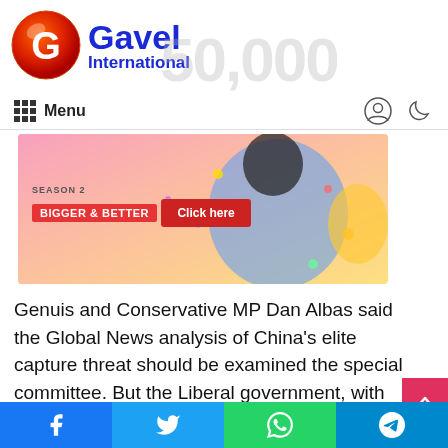Gavel International
[Figure (logo): Gavel International logo with red/orange circular G icon and blue text]
[Figure (photo): Advertisement banner: woman in blue dress celebrating with confetti, text 'BIGGER & BETTER' and 'Click here' button on pink background]
Genuis and Conservative MP Dan Albas said the Global News analysis of China's elite capture threat should be examined the special committee. But the Liberal government, with the
Social share buttons: Facebook, Twitter, WhatsApp, Telegram